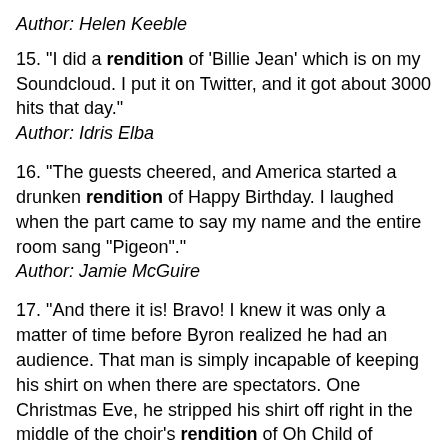Author: Helen Keeble
15. "I did a rendition of 'Billie Jean' which is on my Soundcloud. I put it on Twitter, and it got about 3000 hits that day."
Author: Idris Elba
16. "The guests cheered, and America started a drunken rendition of Happy Birthday. I laughed when the part came to say my name and the entire room sang "Pigeon"."
Author: Jamie McGuire
17. "And there it is! Bravo! I knew it was only a matter of time before Byron realized he had an audience. That man is simply incapable of keeping his shirt on when there are spectators. One Christmas Eve, he stripped his shirt off right in the middle of the choir's rendition of Oh Child of Bethlehem. Coincidentally, the next song was Come Let Us Adore Him and the imbecile actually launched into some...